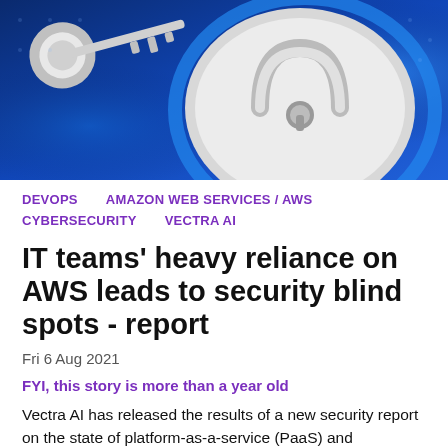[Figure (photo): A metallic key and a padlock on a blue digital/technology background, representing security.]
DEVOPS    AMAZON WEB SERVICES / AWS    CYBERSECURITY    VECTRA AI
IT teams' heavy reliance on AWS leads to security blind spots - report
Fri 6 Aug 2021
FYI, this story is more than a year old
Vectra AI has released the results of a new security report on the state of platform-as-a-service (PaaS) and infrastructure-as-a-service (IaaS), which found that organisations are heavily relying on Amazon